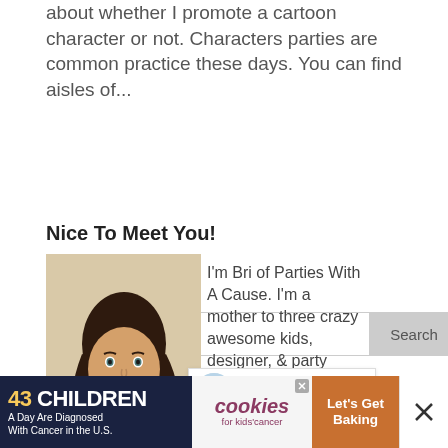about whether I promote a cartoon character or not. Characters parties are common practice these days. You can find aisles of...
[Figure (other): Search box with text input and Search button]
Nice To Meet You!
[Figure (photo): Portrait photo of Bri, a woman with long dark hair, smiling, wearing a floral top]
I'm Bri of Parties With A Cause. I'm a mother to three crazy awesome kids, designer, & party planning junky. I love
[Figure (other): Heart/like button (teal circle with heart icon) showing count 1, and share button below]
[Figure (other): WHAT'S NEXT banner: Sustainable Alternatives ...]
[Figure (other): Advertisement bar: 43 CHILDREN A Day Are Diagnosed With Cancer in the U.S. | cookies for kids' cancer | Let's Get Baking]